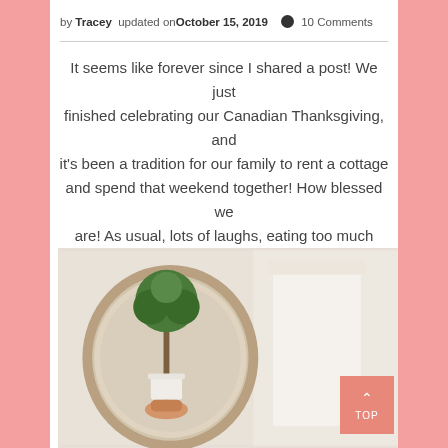by Tracey updated on October 15, 2019  💬 10 Comments
It seems like forever since I shared a post! We just finished celebrating our Canadian Thanksgiving, and it's been a tradition for our family to rent a cottage and spend that weekend together! How blessed we are! As usual, lots of laughs, eating too much food, and memories were had!
[Figure (photo): A decorative mirror and a small potted topiary tree plant in a white pot, held by a hand, with a white fireplace mantel in the background.]